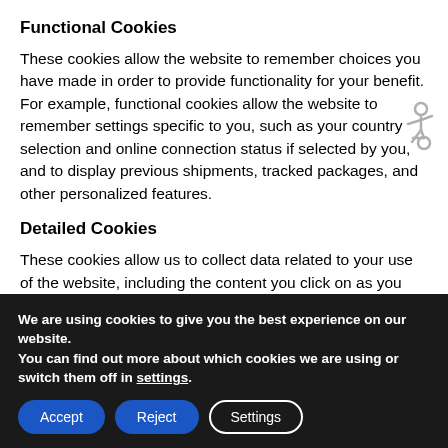Functional Cookies
These cookies allow the website to remember choices you have made in order to provide functionality for your benefit. For example, functional cookies allow the website to remember settings specific to you, such as your country selection and online connection status if selected by you, and to display previous shipments, tracked packages, and other personalized features.
[Figure (illustration): Accessibility wheelchair icon]
Detailed Cookies
These cookies allow us to collect data related to your use of the website, including the content you click on as you browse
We are using cookies to give you the best experience on our website.
You can find out more about which cookies we are using or switch them off in settings.